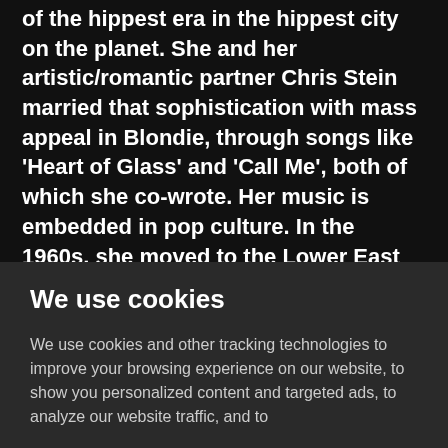of the hippest era in the hippest city on the planet. She and her artistic/romantic partner Chris Stein married that sophistication with mass appeal in Blondie, through songs like 'Heart of Glass' and 'Call Me', both of which she co-wrote. Her music is embedded in pop culture. In the 1960s, she moved to the Lower East Side. She broke musical barriers by mixing New Wave with Punk with Pop with Disco, befriended Andy Warhol and was painted by him, bought the first solo of...
We use cookies
We use cookies and other tracking technologies to improve your browsing experience on our website, to show you personalized content and targeted ads, to analyze our website traffic, and to